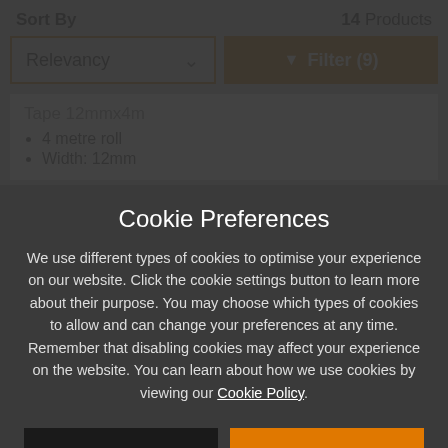Sort By
14 Products
Relevancy
Filter (9)
Tape 12mmx4m
4 metre roll
Width: 12mm
Cookie Preferences
We use different types of cookies to optimise your experience on our website. Click the cookie settings button to learn more about their purpose. You may choose which types of cookies to allow and can change your preferences at any time. Remember that disabling cookies may affect your experience on the website. You can learn about how we use cookies by viewing our Cookie Policy.
Amend Your Preference
Accept All Cookies